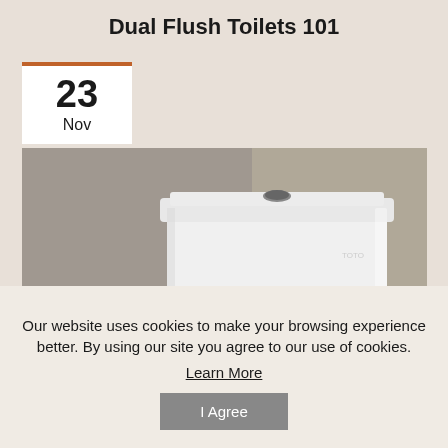Dual Flush Toilets 101
23
Nov
[Figure (photo): Close-up photo of a modern white dual flush toilet cistern/tank against a beige wall background, showing the top-mounted flush button.]
Our website uses cookies to make your browsing experience better. By using our site you agree to our use of cookies.
Learn More
I Agree